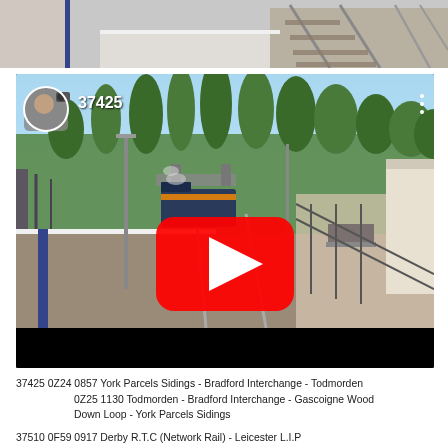[Figure (photo): Top portion of a railway station platform photo showing tracks and platform edge, cropped]
[Figure (screenshot): YouTube video thumbnail showing locomotive 37425 at a railway station platform. Video title '37425' shown in white text. Red YouTube play button in center. User avatar in top-left corner.]
37425 0Z24 0857 York Parcels Sidings - Bradford Interchange - Todmorden 0Z25 1130 Todmorden - Bradford Interchange - Gascoigne Wood Down Loop - York Parcels Sidings
37510 0F59 0917 Derby R.T.C (Network Rail) - Leicester L.I.P